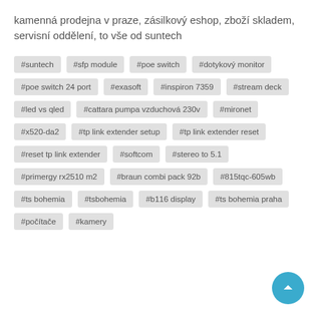kamenná prodejna v praze, zásilkový eshop, zboží skladem, servisní oddělení, to vše od suntech
#suntech
#sfp module
#poe switch
#dotykový monitor
#poe switch 24 port
#exasoft
#inspiron 7359
#stream deck
#led vs qled
#cattara pumpa vzduchová 230v
#mironet
#x520-da2
#tp link extender setup
#tp link extender reset
#reset tp link extender
#softcom
#stereo to 5.1
#primergy rx2510 m2
#braun combi pack 92b
#815tqc-605wb
#ts bohemia
#tsbohemia
#b116 display
#ts bohemia praha
#počítače
#kamery